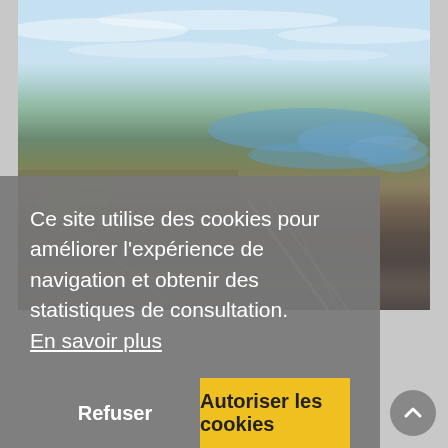[Figure (photo): Aerial photograph of a suburban/urban area with water features, roads, and city sprawl visible under a partly cloudy sky]
Ce site utilise des cookies pour améliorer l'expérience de navigation et obtenir des statistiques de consultation.  En savoir plus
Refuser
Autoriser les cookies